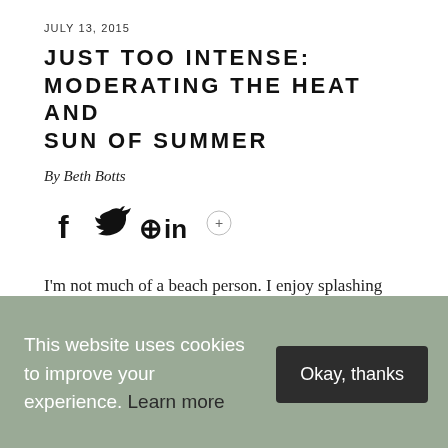JULY 13, 2015
JUST TOO INTENSE: MODERATING THE HEAT AND SUN OF SUMMER
By Beth Botts
[Figure (infographic): Social sharing icons: Facebook (f), Twitter (bird), Pinterest (P), LinkedIn (in), and a plus button]
I'm not much of a beach person. I enjoy splashing and diving in Lake Michigan, but the summer sun is too intense for me to lie around under it for long. Many of my plants feel the
This website uses cookies to improve your experience. Learn more